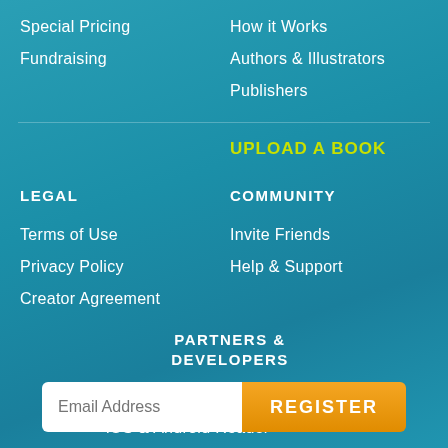Special Pricing
How it Works
Fundraising
Authors & Illustrators
Publishers
UPLOAD A BOOK
LEGAL
COMMUNITY
Terms of Use
Invite Friends
Privacy Policy
Help & Support
Creator Agreement
PARTNERS & DEVELOPERS
MagicBlox API
iOS & Android Reader
Email Address
REGISTER